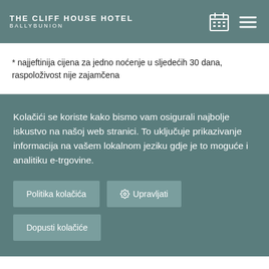THE CLIFF HOUSE HOTEL BALLYBUNION
* najjeftinija cijena za jedno noćenje u sljedećih 30 dana, raspoloživost nije zajamčena
Kolačići se koriste kako bismo vam osigurali najbolje iskustvo na našoj web stranici. To uključuje prikazivanje informacija na vašem lokalnom jeziku gdje je to moguće i analitiku e-trgovine.
Politika kolačića
Upravljati
Dopusti kolačiće